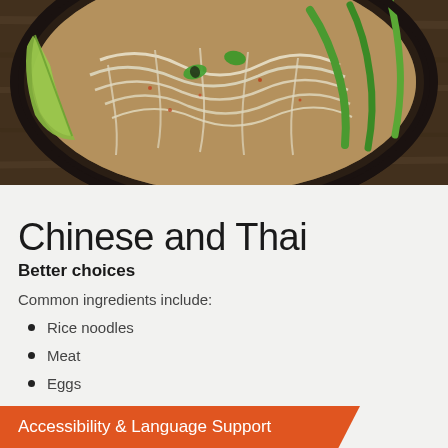[Figure (photo): Overhead view of a bowl of Asian noodles (likely pho or pad thai) with rice noodles, green vegetables, lime wedges, and chili peppers in a dark bowl on a wooden surface]
Chinese and Thai
Better choices
Common ingredients include:
Rice noodles
Meat
Eggs
Fish
Accessibility & Language Support